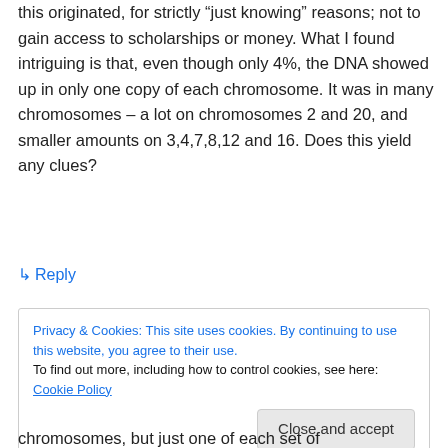this originated, for strictly “just knowing” reasons; not to gain access to scholarships or money. What I found intriguing is that, even though only 4%, the DNA showed up in only one copy of each chromosome. It was in many chromosomes – a lot on chromosomes 2 and 20, and smaller amounts on 3,4,7,8,12 and 16. Does this yield any clues?
↳ Reply
Privacy & Cookies: This site uses cookies. By continuing to use this website, you agree to their use.
To find out more, including how to control cookies, see here: Cookie Policy
chromosomes, but just one of each set of